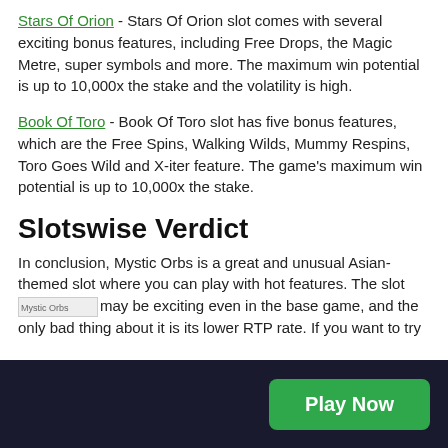Stars Of Orion - Stars Of Orion slot comes with several exciting bonus features, including Free Drops, the Magic Metre, super symbols and more. The maximum win potential is up to 10,000x the stake and the volatility is high.
Book Of Toro - Book Of Toro slot has five bonus features, which are the Free Spins, Walking Wilds, Mummy Respins, Toro Goes Wild and X-iter feature. The game's maximum win potential is up to 10,000x the stake.
Slotswise Verdict
[Figure (photo): Mystic Orbs image placeholder]
In conclusion, Mystic Orbs is a great and unusual Asian-themed slot where you can play with hot features. The slot may be exciting even in the base game, and the only bad thing about it is its lower RTP rate. If you want to try
Play Now